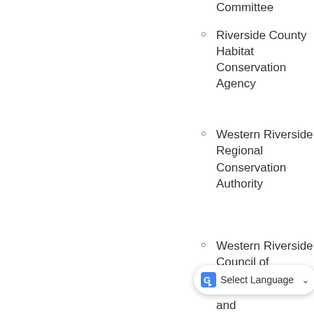Committee (truncated at top)
Riverside County Habitat Conservation Agency
Western Riverside Regional Conservation Authority
Western Riverside Council of Governments and WRCOG (truncated at bottom)